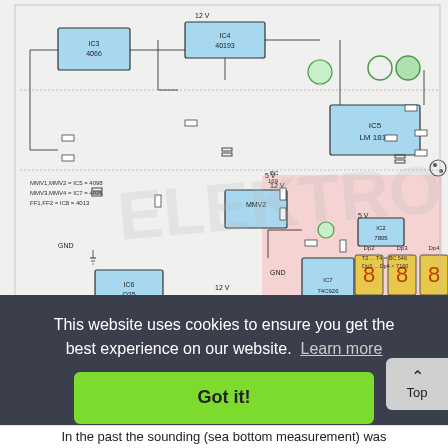[Figure (circuit-diagram): Complex electronic circuit schematic showing multiple ICs including IC3 4066, IC4 40193, IC5 LM1812, IC6 Q25, MMV1, MMV2 monostable multivibrators, 7-segment displays (Dp2, Dp3, Dp4), IC7 74C926, IC2 7805 voltage regulator, various resistors, capacitors, and interconnecting wires. Circuit operates on 12V and 5V supplies with GND references.]
This website uses cookies to ensure you get the best experience on our website. Learn more
Got it!
In the past the sounding (sea bottom measurement) was